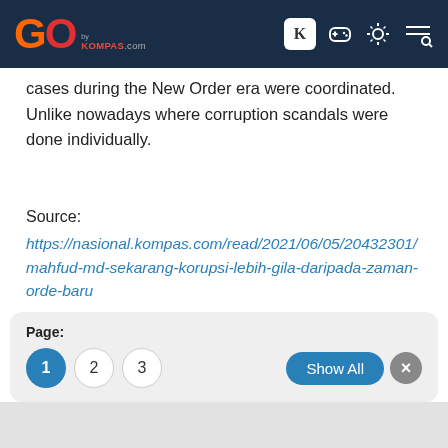GO by KOMPAS.com
cases during the New Order era were coordinated. Unlike nowadays where corruption scandals were done individually.
Source:
https://nasional.kompas.com/read/2021/06/05/20432301/mahfud-md-sekarang-korupsi-lebih-gila-daripada-zaman-orde-baru.
Next Page
Indonesia, China Hold Inaugural Meeting...
Page:
1  2  3
Show All